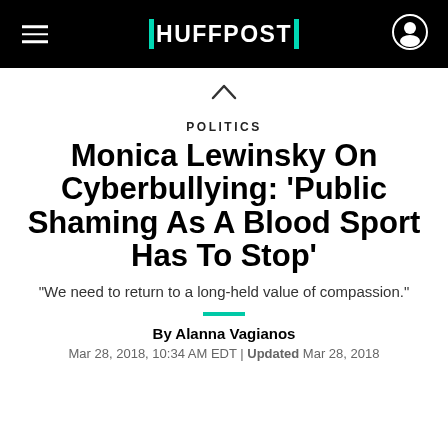HUFFPOST
POLITICS
Monica Lewinsky On Cyberbullying: 'Public Shaming As A Blood Sport Has To Stop'
"We need to return to a long-held value of compassion."
By Alanna Vagianos
Mar 28, 2018, 10:34 AM EDT | Updated Mar 28, 2018